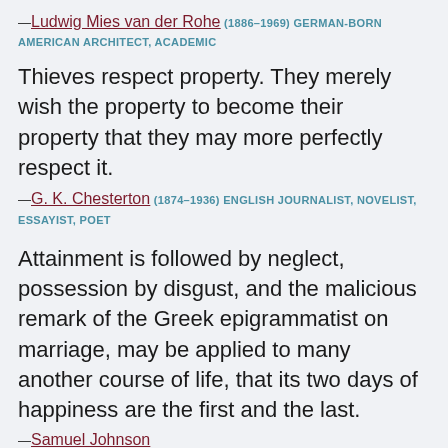—Ludwig Mies van der Rohe (1886–1969) GERMAN-BORN AMERICAN ARCHITECT, ACADEMIC
Thieves respect property. They merely wish the property to become their property that they may more perfectly respect it.
—G. K. Chesterton (1874–1936) ENGLISH JOURNALIST, NOVELIST, ESSAYIST, POET
Attainment is followed by neglect, possession by disgust, and the malicious remark of the Greek epigrammatist on marriage, may be applied to many another course of life, that its two days of happiness are the first and the last.
—Samuel Johnson ...